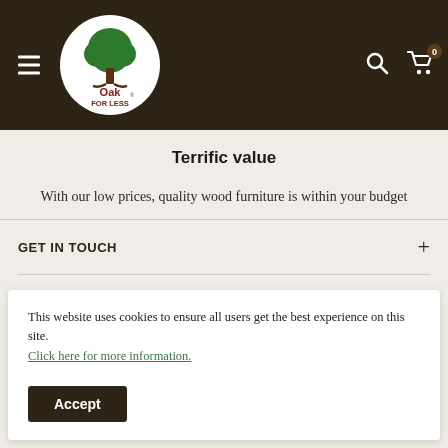[Figure (logo): Oak For Less logo: green tree inside white circle on dark brown header background, with hamburger menu icon on left and search/cart icons on right]
Terrific value
With our low prices, quality wood furniture is within your budget
GET IN TOUCH
FOOTER MENU
This website uses cookies to ensure all users get the best experience on this site. Click here for more information.
Accept